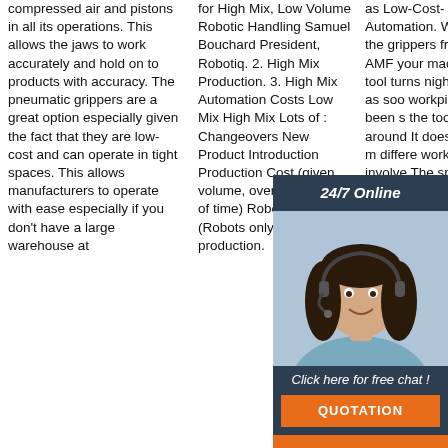compressed air and pistons in all its operations. This allows the jaws to work accurately and hold on to products with accuracy. The pneumatic grippers are a great option especially given the fact that they are low-cost and can operate in tight spaces. This allows manufacturers to operate with ease especially if you don't have a large warehouse at
for High Mix, Low Volume Robotic Handling Samuel Bouchard President, Robotiq. 2. High Mix Production. 3. High Mix Automation Costs Low Mix High Mix Lots of : Changeovers New Product Introduction Production Cost (given volume, over given period of time) Robot production (Robots only) Manual production.
as Low-Cost-Automation. With the grippers from AMF your machine tool turns night in as soon as workpi been s the too around It does how m differe workpi involve The special thing about this solution is that it uses existing resources.
[Figure (other): 24/7 Online chat widget with photo of woman wearing headset, 'Click here for free chat!' text, and orange QUOTATION button]
[Figure (other): TOP badge with orange dots and orange TOP text]